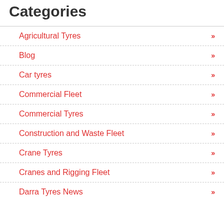Categories
Agricultural Tyres
Blog
Car tyres
Commercial Fleet
Commercial Tyres
Construction and Waste Fleet
Crane Tyres
Cranes and Rigging Fleet
Darra Tyres News